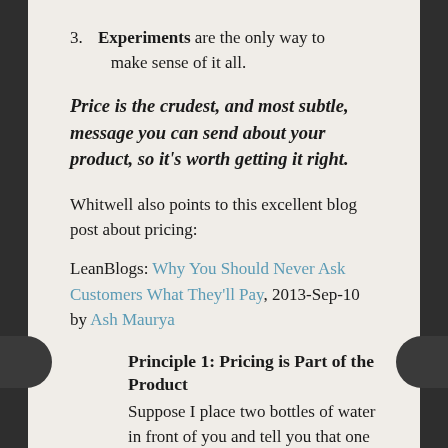3. Experiments are the only way to make sense of it all.
Price is the crudest, and most subtle, message you can send about your product, so it's worth getting it right.
Whitwell also points to this excellent blog post about pricing:
LeanBlogs: Why You Should Never Ask Customers What They'll Pay, 2013-Sep-10 by Ash Maurya
Principle 1: Pricing is Part of the Product
Suppose I place two bottles of water in front of you and tell you that one is $0.50 and the other $2.00. Despite the